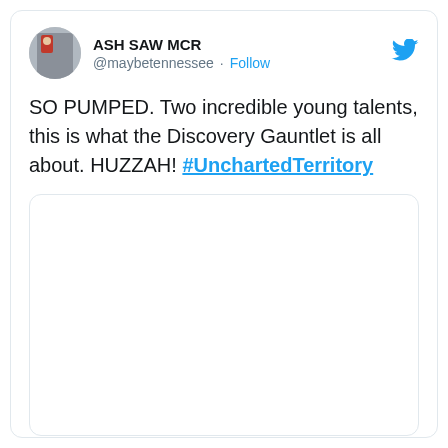[Figure (screenshot): Twitter/X user avatar: small circular profile photo of ASH SAW MCR]
ASH SAW MCR
@maybetennessee · Follow
SO PUMPED. Two incredible young talents, this is what the Discovery Gauntlet is all about. HUZZAH! #UnchartedTerritory
[Figure (other): Empty embedded media/tweet box with rounded border]